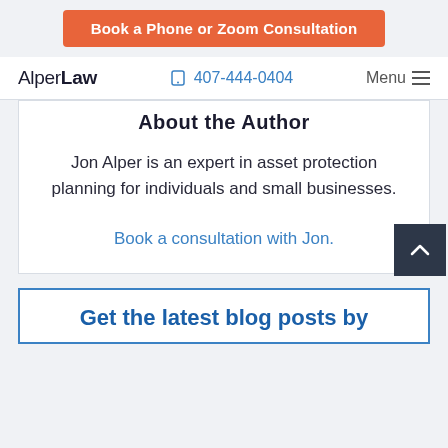Book a Phone or Zoom Consultation
AlperLaw | 407-444-0404 | Menu
About the Author
Jon Alper is an expert in asset protection planning for individuals and small businesses.
Book a consultation with Jon.
Get the latest blog posts by